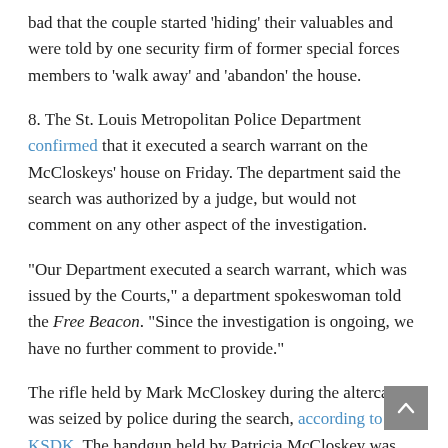bad that the couple started 'hiding' their valuables and were told by one security firm of former special forces members to 'walk away' and 'abandon' the house.
8. The St. Louis Metropolitan Police Department confirmed that it executed a search warrant on the McCloskeys' house on Friday. The department said the search was authorized by a judge, but would not comment on any other aspect of the investigation.
"Our Department executed a search warrant, which was issued by the Courts," a department spokeswoman told the Free Beacon. "Since the investigation is ongoing, we have no further comment to provide."
The rifle held by Mark McCloskey during the altercation was seized by police during the search, according to KSDK. The handgun held by Patricia McCloskey was turned over to police by the couple's former attorney Albert Watkins, who told the St. Louis American the gun was inoperable at the time of the incident.